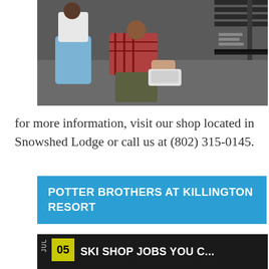[Figure (photo): Photo of a person kneeling on the floor fitting ski boots on someone seated in a chair, in what appears to be a ski shop fitting area. Tables with equipment visible in the background.]
for more information, visit our shop located in Snowshed Lodge or call us at (802) 315-0145.
POTTER BROTHERS AT KILLINGTON RESORT
[Figure (other): Dark banner showing date JUL 05 with yellow badge and text 'SKI SHOP JOBS YOU C...' followed by a large salmon/pink PB logo on dark background.]